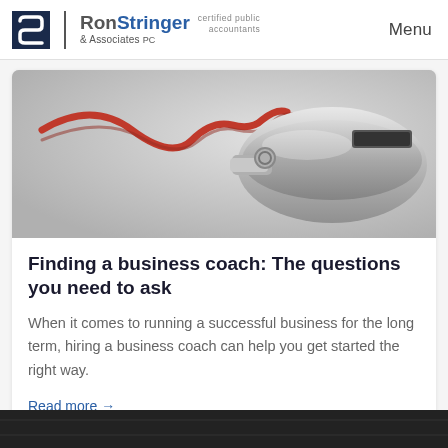Ron Stringer & Associates PC | certified public accountants | Menu
[Figure (photo): Close-up photo of a silver metal whistle with a red cord/lanyard on a light gray background]
Finding a business coach: The questions you need to ask
When it comes to running a successful business for the long term, hiring a business coach can help you get started the right way.
Read more →
[Figure (photo): Partial dark image visible at the bottom of the page, cropped]